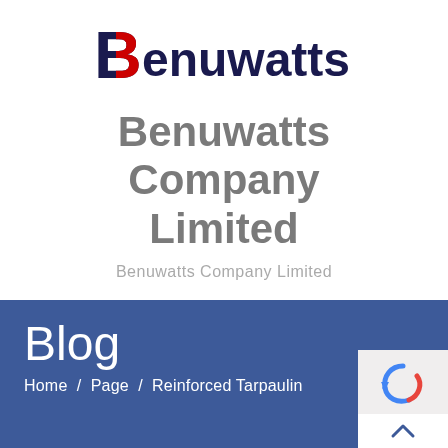[Figure (logo): Benuwatts company logo — stylized B in red/blue followed by 'enuwatts' in dark navy bold text]
Benuwatts Company Limited
Benuwatts Company Limited
[Figure (other): Hamburger/toggle menu button with three horizontal lines, bordered rectangle]
Blog
Home / Page / Reinforced Tarpaulin
[Figure (other): reCAPTCHA widget and scroll-to-top arrow button in bottom right corner]